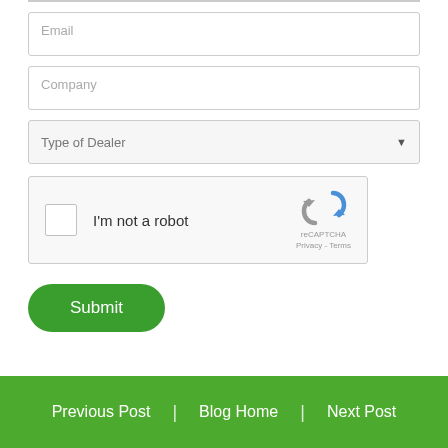Email
Company
Type of Dealer
[Figure (other): reCAPTCHA widget with checkbox labeled 'I'm not a robot' and reCAPTCHA logo with Privacy and Terms links]
Submit
Previous Post | Blog Home | Next Post